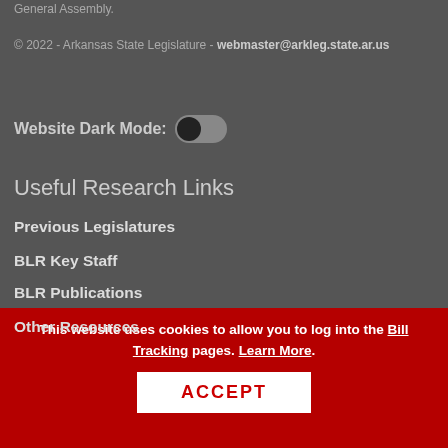General Assembly.
© 2022 - Arkansas State Legislature - webmaster@arkleg.state.ar.us
Website Dark Mode:
Useful Research Links
Previous Legislatures
BLR Key Staff
BLR Publications
Other Resources
State of Arkansas
State Government Directory
This website uses cookies to allow you to log into the Bill Tracking pages. Learn More.
ACCEPT